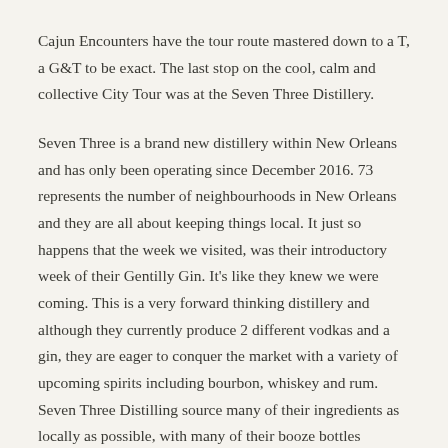Cajun Encounters have the tour route mastered down to a T, a G&T to be exact. The last stop on the cool, calm and collective City Tour was at the Seven Three Distillery.
Seven Three is a brand new distillery within New Orleans and has only been operating since December 2016. 73 represents the number of neighbourhoods in New Orleans and they are all about keeping things local. It just so happens that the week we visited, was their introductory week of their Gentilly Gin. It's like they knew we were coming. This is a very forward thinking distillery and although they currently produce 2 different vodkas and a gin, they are eager to conquer the market with a variety of upcoming spirits including bourbon, whiskey and rum. Seven Three Distilling source many of their ingredients as locally as possible, with many of their booze bottles sporting a local name. We cannot wait to see what